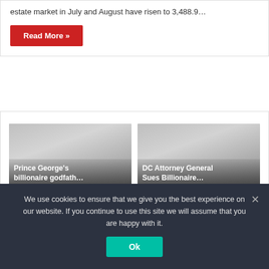estate market in July and August have risen to 3,488.9…
Read More »
[Figure (screenshot): Slider card with two article thumbnails: 'Prince George's billionaire godfath...' and 'DC Attorney General Sues Billionaire...' with navigation dots below]
We use cookies to ensure that we give you the best experience on our website. If you continue to use this site we will assume that you are happy with it.
Ok